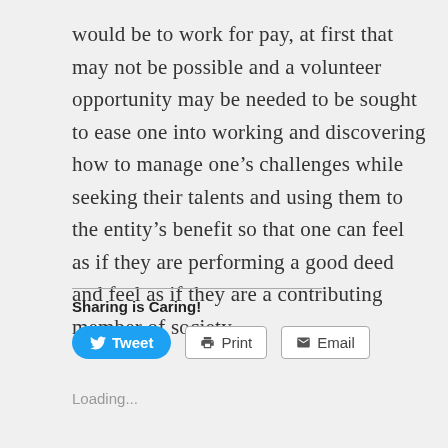would be to work for pay, at first that may not be possible and a volunteer opportunity may be needed to be sought to ease one into working and discovering how to manage one’s challenges while seeking their talents and using them to the entity’s benefit so that one can feel as if they are performing a good deed and feel as if they are a contributing member of society.
Sharing is Caring!
Loading...